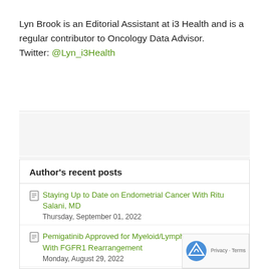Lyn Brook is an Editorial Assistant at i3 Health and is a regular contributor to Oncology Data Advisor. Twitter: @Lyn_i3Health
Author's recent posts
Staying Up to Date on Endometrial Cancer With Ritu Salani, MD — Thursday, September 01, 2022
Pemigatinib Approved for Myeloid/Lymphoid Neoplasms With FGFR1 Rearrangement — Monday, August 29, 2022